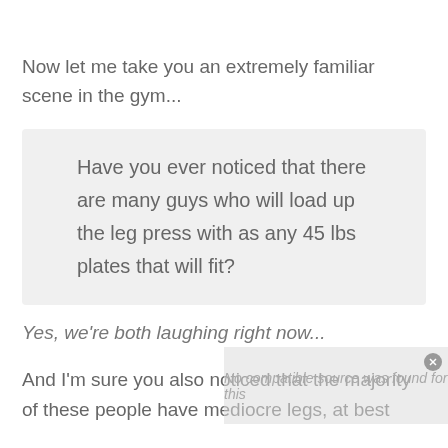Now let me take you an extremely familiar scene in the gym...
Have you ever noticed that there are many guys who will load up the leg press with as any 45 lbs plates that will fit?
Yes, we're both laughing right now...
And I'm sure you also noticed that the majority of these people have mediocre legs, at best